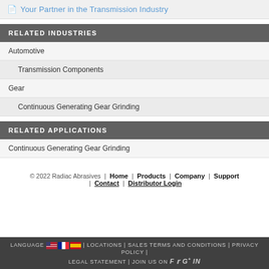Your Partner in the Transmission Industry
RELATED INDUSTRIES
Automotive
Transmission Components
Gear
Continuous Generating Gear Grinding
RELATED APPLICATIONS
Continuous Generating Gear Grinding
© 2022 Radiac Abrasives | Home | Products | Company | Support | Contact | Distributor Login
LANGUAGE | LOCATIONS | SALES TERMS AND CONDITIONS | PRIVACY POLICY | LEGAL STATEMENT | JOIN US ON f t g+ in